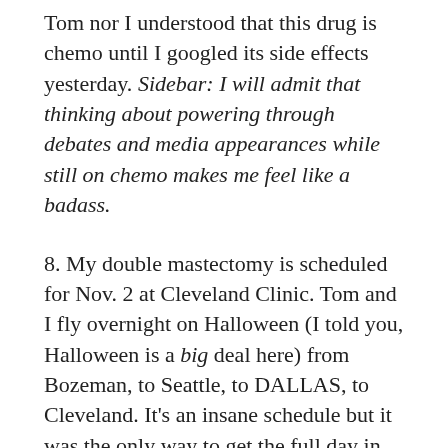Tom nor I understood that this drug is chemo until I googled its side effects yesterday. Sidebar: I will admit that thinking about powering through debates and media appearances while still on chemo makes me feel like a badass.
8. My double mastectomy is scheduled for Nov. 2 at Cleveland Clinic. Tom and I fly overnight on Halloween (I told you, Halloween is a big deal here) from Bozeman, to Seattle, to DALLAS, to Cleveland. It's an insane schedule but it was the only way to get the full day in on the 31st and still make the pre-op appointments on Nov. 1. As far as the surgery goes, no, I am decidedly not looking forward to it. However, it sounds a hell of a lot better than open heart surgery so I am far less anxious about it now than I was in August. So...silver lining to the blood clot? I think so. Also, it's time to